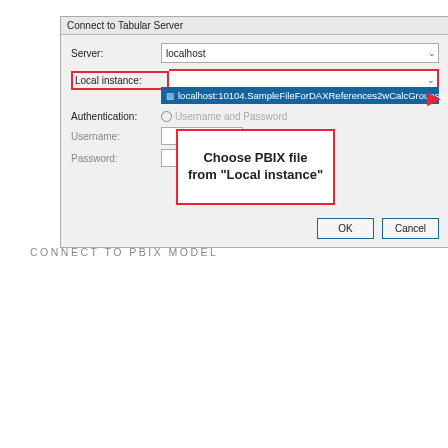[Figure (screenshot): Connect to Tabular Server dialog with Local instance dropdown showing localhost:10104.SampleFileForDAXReferences2wCalcGroups.pbix selected, and a callout box saying 'Choose PBIX file from Local instance']
CONNECT TO PBIX MODEL
[Figure (screenshot): Power BI Desktop Warning dialog with warning triangle icon, text about experimental features, and OK button highlighted with 'Click OK' callout]